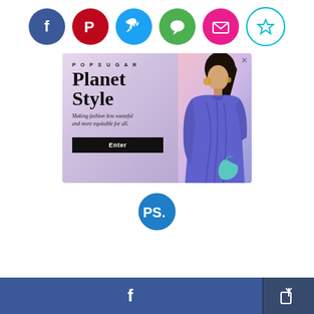[Figure (infographic): Social sharing icons row: Facebook (blue circle), Pinterest (red circle), Twitter (blue circle), Messages (green circle), Mail (pink circle), Bookmark/Star (cyan outline circle)]
[Figure (screenshot): POPSUGAR Planet Style advertisement. Left side has lavender gradient background with POPSUGAR brand name, 'Planet Style' large serif heading, 'Making fashion less wasteful and more equitable for all.' subtitle, and black Enter button. Right side shows a model wearing a blue pleated dress holding a teal chain bag.]
[Figure (logo): POPSUGAR PS. logo — blue circle with white PS. text]
[Figure (infographic): Footer bar with Facebook share button (blue) on left and share/export icon button (dark blue) on right]